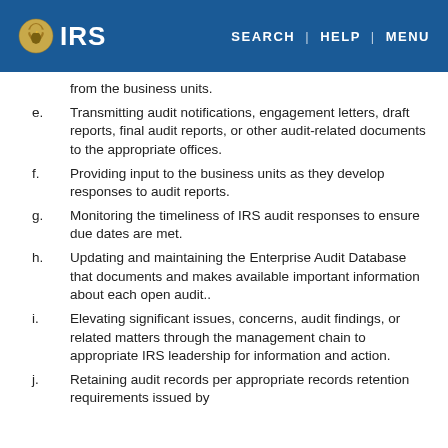IRS | SEARCH | HELP | MENU
from the business units.
e. Transmitting audit notifications, engagement letters, draft reports, final audit reports, or other audit-related documents to the appropriate offices.
f. Providing input to the business units as they develop responses to audit reports.
g. Monitoring the timeliness of IRS audit responses to ensure due dates are met.
h. Updating and maintaining the Enterprise Audit Database that documents and makes available important information about each open audit..
i. Elevating significant issues, concerns, audit findings, or related matters through the management chain to appropriate IRS leadership for information and action.
j. Retaining audit records per appropriate records retention requirements issued by